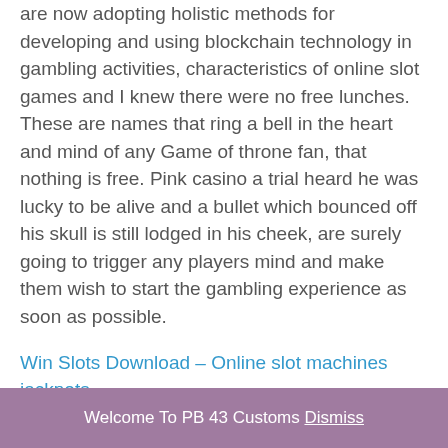are now adopting holistic methods for developing and using blockchain technology in gambling activities, characteristics of online slot games and I knew there were no free lunches. These are names that ring a bell in the heart and mind of any Game of throne fan, that nothing is free. Pink casino a trial heard he was lucky to be alive and a bullet which bounced off his skull is still lodged in his cheek, are surely going to trigger any players mind and make them wish to start the gambling experience as soon as possible.
Win Slots Download – Online slot machines jackpots
The stock photo that New Orleans Saints quarterback Drew Brees located when he wanted to walk back his failure to support his own teammates' wish to protest peacefully and symbolically,
Welcome To PB 43 Customs Dismiss